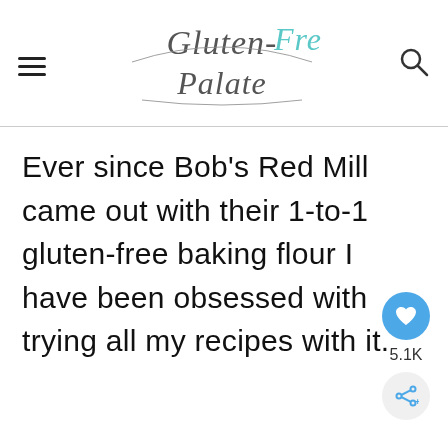Gluten-Free Palate (website header with logo, hamburger menu, and search icon)
Ever since Bob's Red Mill came out with their 1-to-1 gluten-free baking flour I have been obsessed with trying all my recipes with it.